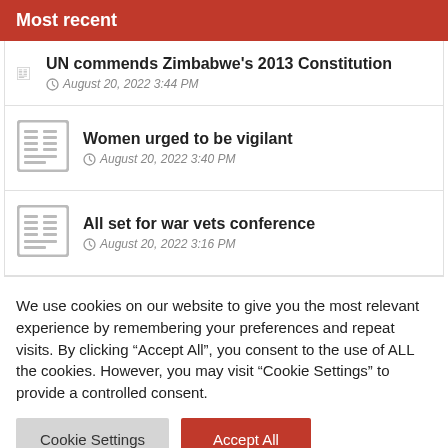Most recent
UN commends Zimbabwe's 2013 Constitution
August 20, 2022 3:44 PM
Women urged to be vigilant
August 20, 2022 3:40 PM
All set for war vets conference
August 20, 2022 3:16 PM
We use cookies on our website to give you the most relevant experience by remembering your preferences and repeat visits. By clicking “Accept All”, you consent to the use of ALL the cookies. However, you may visit "Cookie Settings" to provide a controlled consent.
Cookie Settings | Accept All